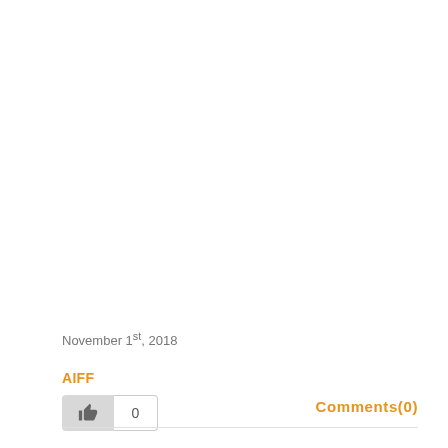November 1st, 2018
AIFF
0
Comments(0)